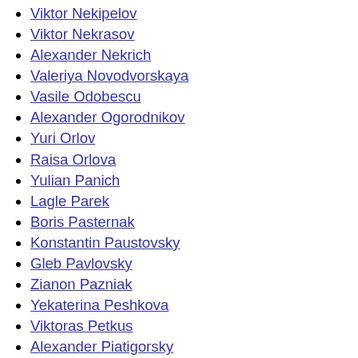Viktor Nekipelov
Viktor Nekrasov
Alexander Nekrich
Valeriya Novodvorskaya
Vasile Odobescu
Alexander Ogorodnikov
Yuri Orlov
Raisa Orlova
Yulian Panich
Lagle Parek
Boris Pasternak
Konstantin Paustovsky
Gleb Pavlovsky
Zianon Pazniak
Yekaterina Peshkova
Viktoras Petkus
Alexander Piatigorsky
Leonid Plyushch
Alexandr Podrabinek
Grigory Pomerants
Vladimir Pribylovsky
Dmitri Prigov
Anatoly Pristavkin
Boris Pustyntsev
Irina Ratushinskaya